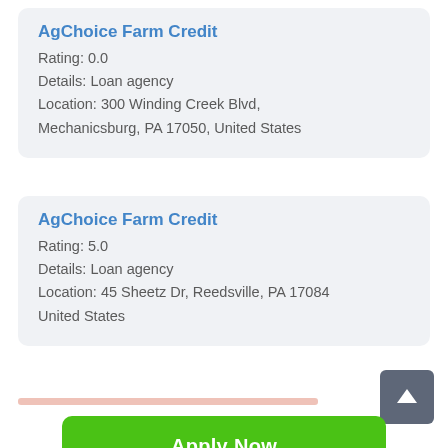AgChoice Farm Credit
Rating: 0.0
Details: Loan agency
Location: 300 Winding Creek Blvd, Mechanicsburg, PA 17050, United States
AgChoice Farm Credit
Rating: 5.0
Details: Loan agency
Location: 45 Sheetz Dr, Reedsville, PA 17084 United States
[Figure (other): Green 'Apply Now' button]
Applying does NOT affect your credit score! No credit check to apply.